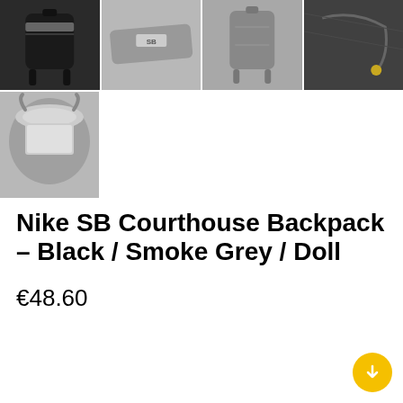[Figure (photo): Four product images of Nike SB Courthouse Backpack in a row: front view (black), strap detail (grey with Nike SB logo), back view (grey), zipper detail (dark)]
[Figure (photo): One product image of Nike SB Courthouse Backpack open interior view (grey)]
Nike SB Courthouse Backpack – Black / Smoke Grey / Doll
€48.60